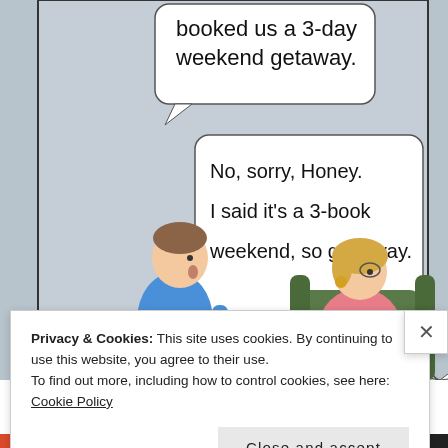[Figure (illustration): A cartoon showing two characters: a man standing in a blue shirt looking surprised, and a woman sitting in a green armchair wearing a pink top with blonde hair and earrings. Two speech bubbles are visible. The top speech bubble (partially cut off) reads 'booked us a 3-day weekend getaway.' The second speech bubble says 'No, sorry, Honey. I said it's a 3-book weekend, so get away.' The background is grey-blue. Text 'INF' appears vertically on the left side.]
Privacy & Cookies: This site uses cookies. By continuing to use this website, you agree to their use.
To find out more, including how to control cookies, see here: Cookie Policy
Close and accept